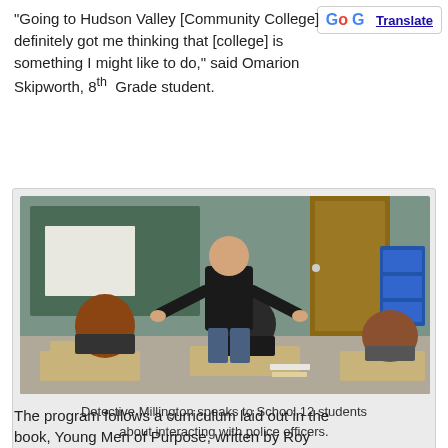“Going to Hudson Valley [Community College] definitely got me thinking that [college] is something I might like to do,” said Omarion Skipworth, 8th Grade student.
[Figure (photo): A man (Detective Millington) stands at the front of a classroom with arms outstretched, speaking to students seated at desks. A green chalkboard and brown door are visible in the background.]
Detective Millington speaks to School 12 students about interacting with police officers.
The program follows a curriculum laid out in the book, Young Men of Purpose, written by Roy